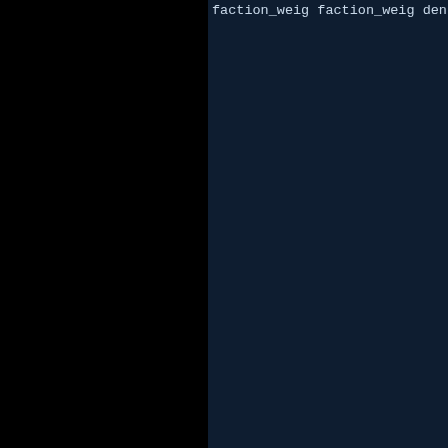faction_weig...
faction_weig...
density_rest...
encounter = ...
faction = fc_...
faction = fc_...
encounter = ...
faction = gd_...
encounter = ...
faction = fc_...
faction = fc_...

[zone]
nickname = ...
pos = -2887...
shape = SPH...
size = 4000
comment = ...
sort = 21
toughness = ...
density = 9
repop_time ...
max_battle_...
pop_type = v...
relief_time = ...
faction_weig...